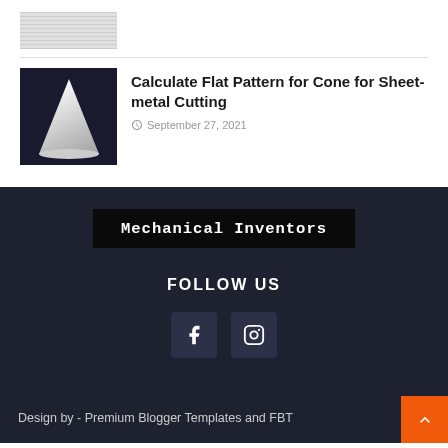[Figure (photo): Thumbnail image placeholder with striped grey pattern at top]
[Figure (photo): White cone/pyramid shape on dark background]
Calculate Flat Pattern for Cone for Sheet-metal Cutting
September 27, 2021
Mechanical Inventors
FOLLOW US
[Figure (logo): Facebook icon button]
[Figure (logo): Instagram icon button]
Design by - Premium Blogger Templates and FBT